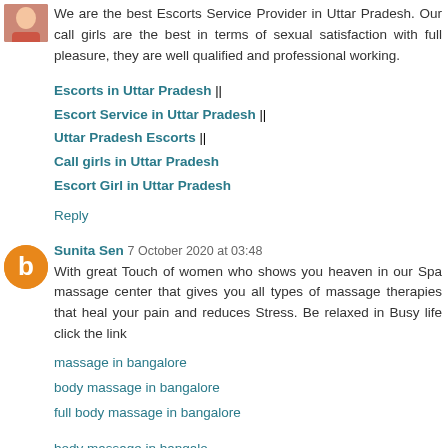[Figure (photo): Small avatar photo of a person, top-left corner]
We are the best Escorts Service Provider in Uttar Pradesh. Our call girls are the best in terms of sexual satisfaction with full pleasure, they are well qualified and professional working.
Escorts in Uttar Pradesh ||
Escort Service in Uttar Pradesh ||
Uttar Pradesh Escorts ||
Call girls in Uttar Pradesh
Escort Girl in Uttar Pradesh
Reply
[Figure (illustration): Orange circular blogger avatar icon with letter b]
Sunita Sen 7 October 2020 at 03:48
With great Touch of women who shows you heaven in our Spa massage center that gives you all types of massage therapies that heal your pain and reduces Stress. Be relaxed in Busy life click the link
massage in bangalore
body massage in bangalore
full body massage in bangalore
body massage in bangalore